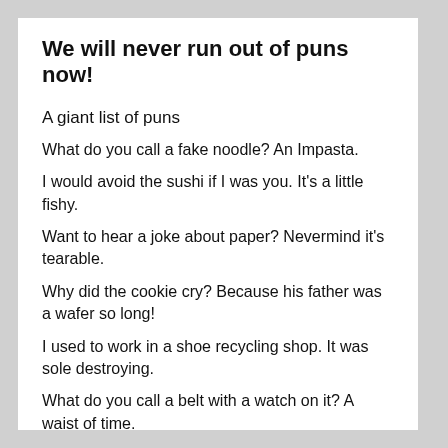We will never run out of puns now!
A giant list of puns
What do you call a fake noodle? An Impasta.
I would avoid the sushi if I was you. It's a little fishy.
Want to hear a joke about paper? Nevermind it's tearable.
Why did the cookie cry? Because his father was a wafer so long!
I used to work in a shoe recycling shop. It was sole destroying.
What do you call a belt with a watch on it? A waist of time.
How do you organize an outer space party? You planet.